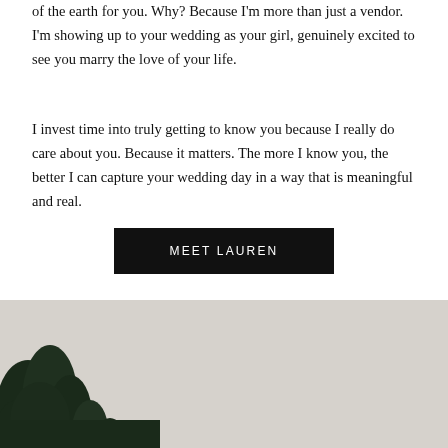of the earth for you. Why? Because I'm more than just a vendor. I'm showing up to your wedding as your girl, genuinely excited to see you marry the love of your life.
I invest time into truly getting to know you because I really do care about you. Because it matters. The more I know you, the better I can capture your wedding day in a way that is meaningful and real.
MEET LAUREN
[Figure (photo): Bottom portion of an outdoor photo showing dark green conifer tree tops against a light grey/beige sky.]